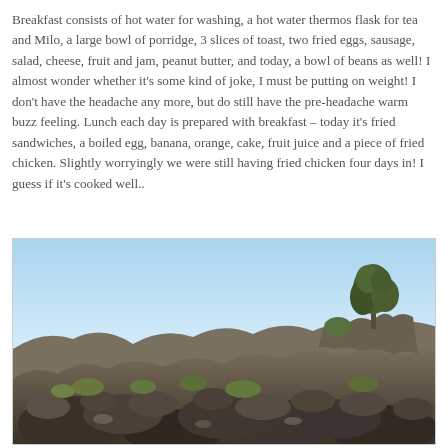Breakfast consists of hot water for washing, a hot water thermos flask for tea and Milo, a large bowl of porridge, 3 slices of toast, two fried eggs, sausage, salad, cheese, fruit and jam, peanut butter, and today, a bowl of beans as well! I almost wonder whether it's some kind of joke, I must be putting on weight! I don't have the headache any more, but do still have the pre-headache warm buzz feeling. Lunch each day is prepared with breakfast – today it's fried sandwiches, a boiled egg, banana, orange, cake, fruit juice and a piece of fried chicken. Slightly worryingly we were still having fried chicken four days in! I guess if it's cooked well..
[Figure (photo): Outdoor landscape photo showing rocky volcanic terrain in the foreground with large boulders and scrubby vegetation, and a clear blue sky in the background. A single tall tree is visible on a rocky outcrop near the upper right of the image.]